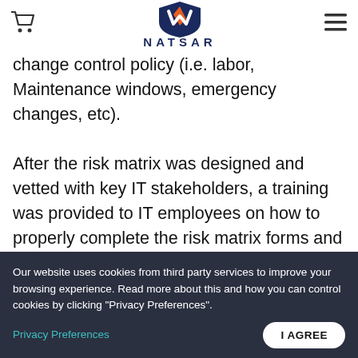NATSAR logo header with cart icon and hamburger menu
change control policy (i.e. labor, Maintenance windows, emergency changes, etc).

After the risk matrix was designed and vetted with key IT stakeholders, a training was provided to IT employees on how to properly complete the risk matrix forms and how to attach them to the change plans.  This training also covered the updated policy and provided a baseline of what was expected for employees related to change control.
crafting approach. Natsar notes that they have the ability to treat a change higher than it may be rated on the matrix, but never lower. For
Our website uses cookies from third party services to improve your browsing experience. Read more about this and how you can control cookies by clicking "Privacy Preferences".
Privacy Preferences
I AGREE